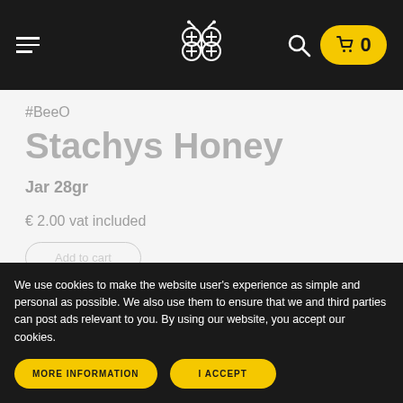#BeeO navigation bar with hamburger menu, bee logo, search icon, and cart (0)
#BeeO
Stachys Honey
Jar 28gr
€ 2.00 vat included
We use cookies to make the website user's experience as simple and personal as possible. We also use them to ensure that we and third parties can post ads relevant to you. By using our website, you accept our cookies.
MORE INFORMATION
I ACCEPT